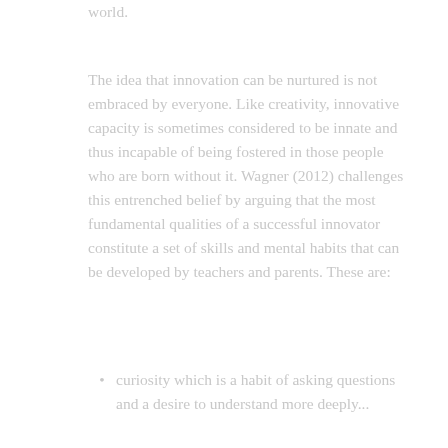world.
The idea that innovation can be nurtured is not embraced by everyone. Like creativity, innovative capacity is sometimes considered to be innate and thus incapable of being fostered in those people who are born without it. Wagner (2012) challenges this entrenched belief by arguing that the most fundamental qualities of a successful innovator constitute a set of skills and mental habits that can be developed by teachers and parents. These are:
curiosity which is a habit of asking questions and a desire to understand more deeply...